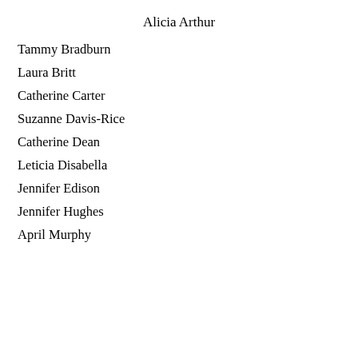Alicia Arthur
Tammy Bradburn
Laura Britt
Catherine Carter
Suzanne Davis-Rice
Catherine Dean
Leticia Disabella
Jennifer Edison
Jennifer Hughes
April Murphy